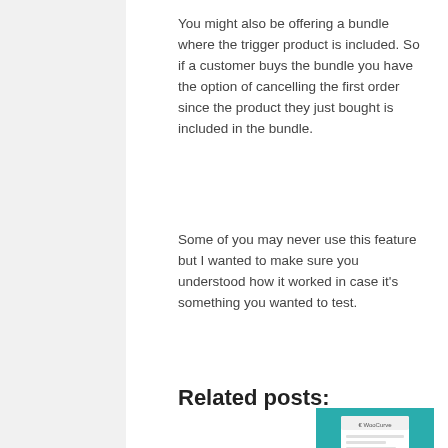You might also be offering a bundle where the trigger product is included. So if a customer buys the bundle you have the option of cancelling the first order since the product they just bought is included in the bundle.
Some of you may never use this feature but I wanted to make sure you understood how it worked in case it's something you wanted to test.
Related posts:
[Figure (illustration): WooCurve branded illustration showing a receipt/document on a teal background]